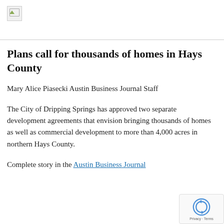[Figure (other): Broken image placeholder icon in top section]
Plans call for thousands of homes in Hays County
Mary Alice Piasecki Austin Business Journal Staff
The City of Dripping Springs has approved two separate development agreements that envision bringing thousands of homes as well as commercial development to more than 4,000 acres in northern Hays County.
Complete story in the Austin Business Journal